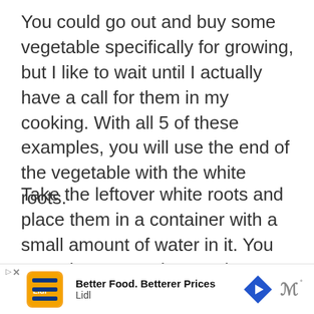You could go out and buy some vegetable specifically for growing, but I like to wait until I actually have a call for them in my cooking. With all 5 of these examples, you will use the end of the vegetable with the white roots.
Take the leftover white roots and place them in a container with a small amount of water in it. You want the roots to be wet, but you don't want the entire thing submerged. Take your container and place it in a sunny window sill. I've ac[tually...] in a fai[rly...] ide of
[Figure (other): Lidl advertisement banner at the bottom of the page: orange Lidl logo icon, text 'Better Food. Betterer Prices' and 'Lidl', blue diamond/arrow navigation icon, and wave signal icon]